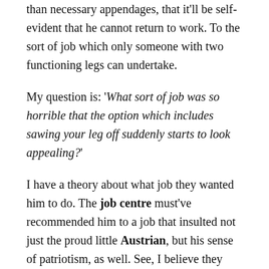than necessary appendages, that it'll be self-evident that he cannot return to work. To the sort of job which only someone with two functioning legs can undertake.
My question is: 'What sort of job was so horrible that the option which includes sawing your leg off suddenly starts to look appealing?'
I have a theory about what job they wanted him to do. The job centre must've recommended him to a job that insulted not just the proud little Austrian, but his sense of patriotism, as well. See, I believe they wanted him to be one of the people who goes door to door searching peoples' cellars for long-term hostages. It makes perfect sense, doesn't it?
For the sake of Austria's wounded identity, this guy is